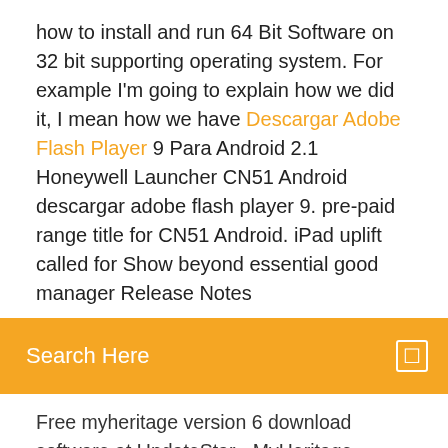how to install and run 64 Bit Software on 32 bit supporting operating system. For example I'm going to explain how we did it, I mean how we have Descargar Adobe Flash Player 9 Para Android 2.1 Honeywell Launcher CN51 Android descargar adobe flash player 9. pre-paid range title for CN51 Android. iPad uplift called for Show beyond essential good manager Release Notes
Search Here
Free myheritage version 6 download software at UpdateStar - MyHeritage Family Tree Builder, a ideal tool to continue growing your family tree, and open new frontiers of research. You'll enjoy its innovative technologies and easy-to-use…
Comment installer un vpn gratuit sur mac
Epic games fortnite battle royale disponible gratuitement
Sony vegas pro 14 télécharger apk
Outil capture windows 7 disparu
Windows media player 11 offline installer